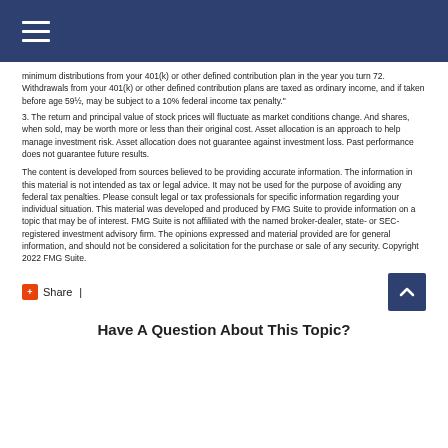minimum distributions from your 401(k) or other defined contribution plan in the year you turn 72. Withdrawals from your 401(k) or other defined contribution plans are taxed as ordinary income, and if taken before age 59½, may be subject to a 10% federal income tax penalty."
3. The return and principal value of stock prices will fluctuate as market conditions change. And shares, when sold, may be worth more or less than their original cost. Asset allocation is an approach to help manage investment risk. Asset allocation does not guarantee against investment loss. Past performance does not guarantee future results.
The content is developed from sources believed to be providing accurate information. The information in this material is not intended as tax or legal advice. It may not be used for the purpose of avoiding any federal tax penalties. Please consult legal or tax professionals for specific information regarding your individual situation. This material was developed and produced by FMG Suite to provide information on a topic that may be of interest. FMG Suite is not affiliated with the named broker-dealer, state- or SEC-registered investment advisory firm. The opinions expressed and material provided are for general information, and should not be considered a solicitation for the purchase or sale of any security. Copyright 2022 FMG Suite.
Have A Question About This Topic?